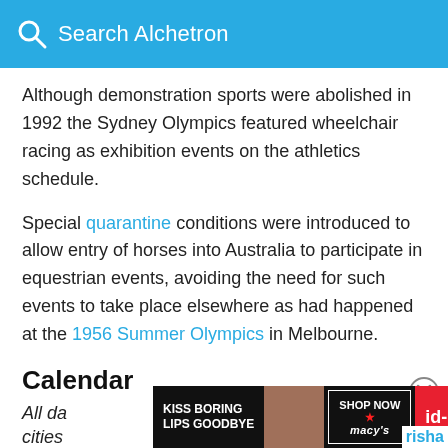Search Alchetron
Although demonstration sports were abolished in 1992 the Sydney Olympics featured wheelchair racing as exhibition events on the athletics schedule.
Special quarantine conditions were introduced to allow entry of horses into Australia to participate in equestrian events, avoiding the need for such events to take place elsewhere as had happened at the 1956 Summer Olympics in Melbourne.
Calendar
All da... cities...